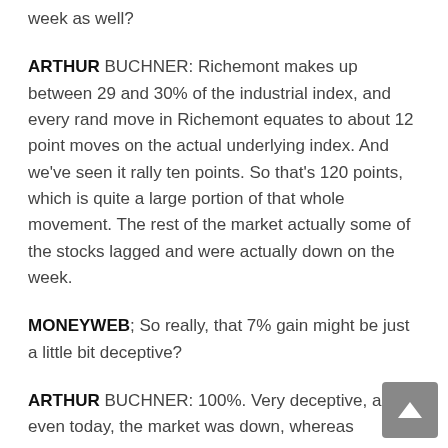week as well?
ARTHUR BUCHNER: Richemont makes up between 29 and 30% of the industrial index, and every rand move in Richemont equates to about 12 point moves on the actual underlying index. And we've seen it rally ten points. So that's 120 points, which is quite a large portion of that whole movement. The rest of the market actually some of the stocks lagged and were actually down on the week.
MONEYWEB; So really, that 7% gain might be just a little bit deceptive?
ARTHUR BUCHNER: 100%. Very deceptive, and even today, the market was down, whereas